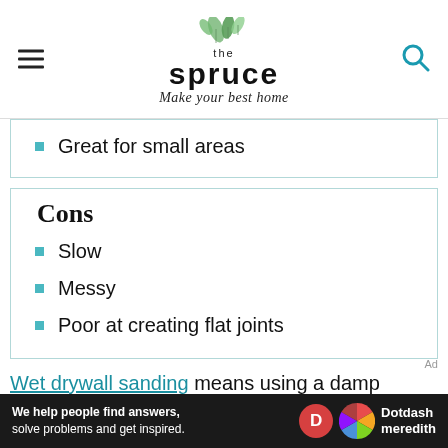the spruce — Make your best home
Great for small areas
Cons
Slow
Messy
Poor at creating flat joints
Wet drywall sanding means using a damp sponge to soften and smear the hardened
We help people find answers, solve problems and get inspired. Dotdash meredith